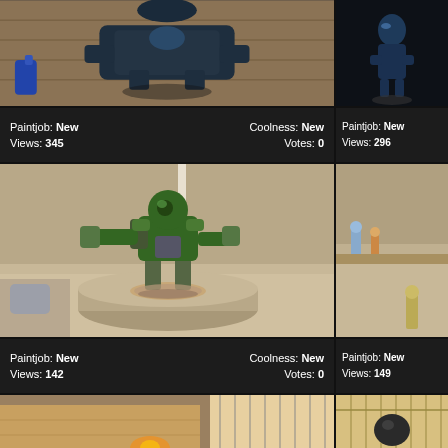[Figure (photo): Top-left miniature figure photo - dark blue/black painted miniature on wooden surface]
[Figure (photo): Top-right miniature figure photo - dark blue painted figure on black background]
Paintjob: New   Coolness: New
Views: 345   Votes: 0
Paintjob: New
Views: 296
[Figure (photo): Large center photo - green Space Marine miniature figure standing on a paint pot/cylinder]
[Figure (photo): Right side - partial view of miniature figures on desk]
Paintjob: New   Coolness: New
Views: 142   Votes: 0
Paintjob: New
Views: 149
[Figure (photo): Bottom-left partial photo of miniature figures]
[Figure (photo): Bottom-right partial photo of miniature figures]